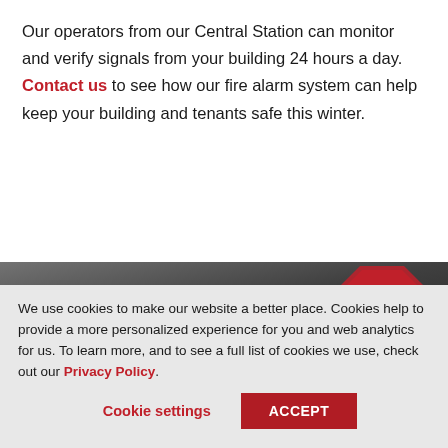Our operators from our Central Station can monitor and verify signals from your building 24 hours a day. Contact us to see how our fire alarm system can help keep your building and tenants safe this winter.
[Figure (photo): Dark background photo with a red stop sign partially visible on the right. White bold text reads 'IS YOUR FACILITY' overlaid on the image.]
We use cookies to make our website a better place. Cookies help to provide a more personalized experience for you and web analytics for us. To learn more, and to see a full list of cookies we use, check out our Privacy Policy.
Cookie settings | ACCEPT